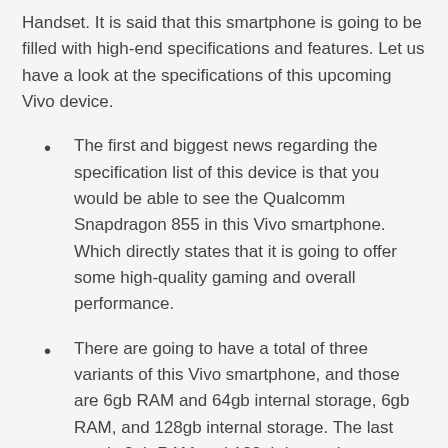Handset. It is said that this smartphone is going to be filled with high-end specifications and features. Let us have a look at the specifications of this upcoming Vivo device.
The first and biggest news regarding the specification list of this device is that you would be able to see the Qualcomm Snapdragon 855 in this Vivo smartphone. Which directly states that it is going to offer some high-quality gaming and overall performance.
There are going to have a total of three variants of this Vivo smartphone, and those are 6gb RAM and 64gb internal storage, 6gb RAM, and 128gb internal storage. The last one is 8gb RAM and 128gb internal storage. Moreover, there are some rumors that you would be able to see the fourth variant of this device, which is 8gb RAM and 256gb internal storage.
If we talk about its display, then you would be able to see a full HD+ AMOLED with some modern technologies in it.